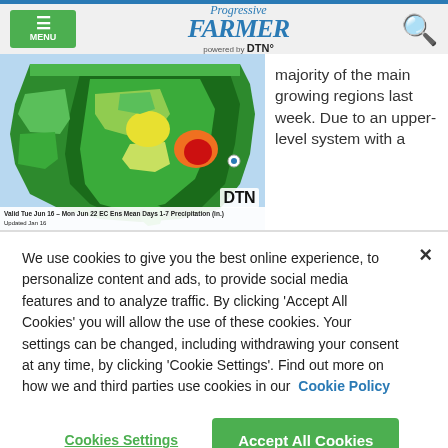Progressive Farmer powered by DTN
[Figure (map): US precipitation map showing EC Ens Mean Days 1-7 Precipitation in inches, valid Tue Jun 16 - Mon Jun 22, Updated Jan 16. Color scale from light green (low) to red/orange (high precipitation). Red/orange hotspot visible in the mid-Atlantic/southeastern US region.]
majority of the main growing regions last week. Due to an upper-level system with a
We use cookies to give you the best online experience, to personalize content and ads, to provide social media features and to analyze traffic. By clicking 'Accept All Cookies' you will allow the use of these cookies. Your settings can be changed, including withdrawing your consent at any time, by clicking 'Cookie Settings'. Find out more on how we and third parties use cookies in our  Cookie Policy
Cookies Settings
Accept All Cookies